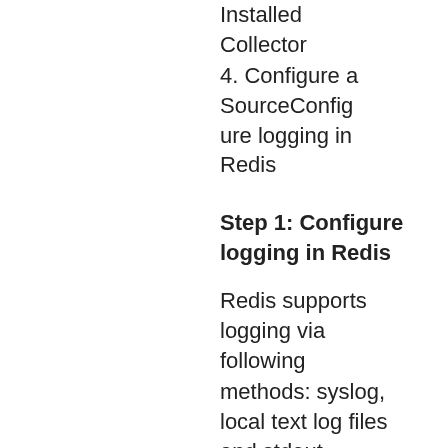Installed Collector
4. Configure a SourceConfigure logging in Redis
Step 1: Configure logging in Redis
Redis supports logging via following methods: syslog, local text log files and stdout. Redis logs have four levels of